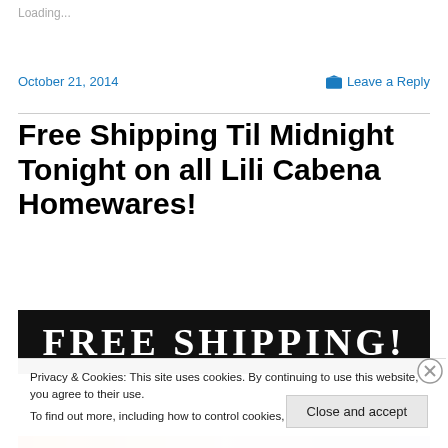Loading...
October 21, 2014
Leave a Reply
Free Shipping Til Midnight Tonight on all Lili Cabena Homewares!
[Figure (other): Black banner with white serif text reading FREE SHIPPING!]
Privacy & Cookies: This site uses cookies. By continuing to use this website, you agree to their use.
To find out more, including how to control cookies, see here: Cookie Policy
Close and accept